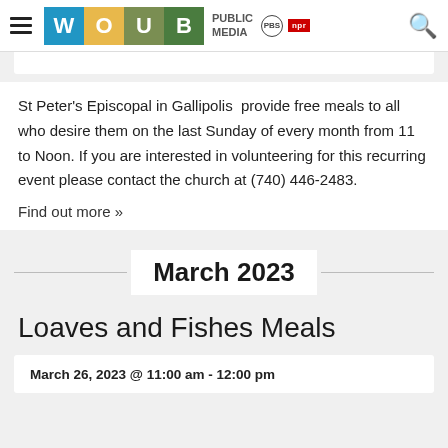WOUB Public Media PBS NPR
St Peter's Episcopal in Gallipolis provide free meals to all who desire them on the last Sunday of every month from 11 to Noon. If you are interested in volunteering for this recurring event please contact the church at (740) 446-2483.
Find out more »
March 2023
Loaves and Fishes Meals
March 26, 2023 @ 11:00 am - 12:00 pm